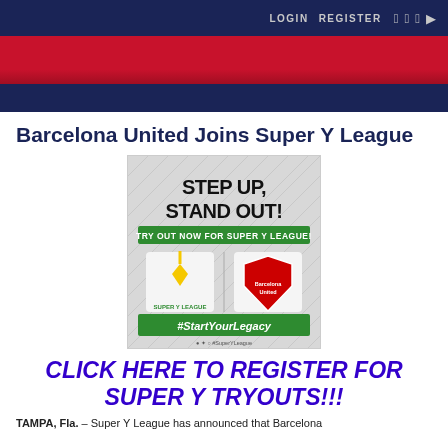LOGIN   REGISTER
[Figure (illustration): Red banner and dark navy bar forming the site header/navigation area]
Barcelona United Joins Super Y League
[Figure (infographic): Promotional graphic reading STEP UP, STAND OUT! TRY OUT NOW FOR SUPER Y LEAGUE! with Super Y League and Barcelona United logos and #StartYourLegacy hashtag]
CLICK HERE TO REGISTER FOR SUPER Y TRYOUTS!!!
TAMPA, Fla. – Super Y League has announced that Barcelona